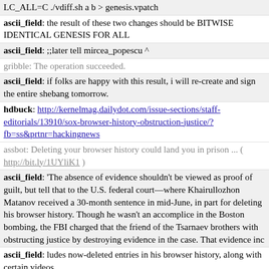LC_ALL=C ./vdiff.sh a b > genesis.vpatch
ascii_field: the result of these two changes should be BITWISE IDENTICAL GENESIS FOR ALL
ascii_field: ;;later tell mircea_popescu ^
gribble: The operation succeeded.
ascii_field: if folks are happy with this result, i will re-create and sign the entire shebang tomorrow.
hdbuck: http://kernelmag.dailydot.com/issue-sections/staff-editorials/13910/sox-browser-history-obstruction-justice/?fb=ss&prtnr=hackingnews
assbot: Deleting your browser history could land you in prison ... ( http://bit.ly/1UYliK1 )
ascii_field: 'The absence of evidence shouldn't be viewed as proof of guilt, but tell that to the U.S. federal court—where Khairullozhon Matanov received a 30-month sentence in mid-June, in part for deleting his browser history. Though he wasn't an accomplice in the Boston bombing, the FBI charged that the friend of the Tsarnaev brothers with obstructing justice by destroying evidence in the case. That evidence inc
ascii_field: ludes now-deleted entries in his browser history, along with certain videos.
ascii_field: Matanov isn't the first person to be sentenced under such circumstances.'
trinque: and furthermore
trinque: "Under the law, people are required to preserve any